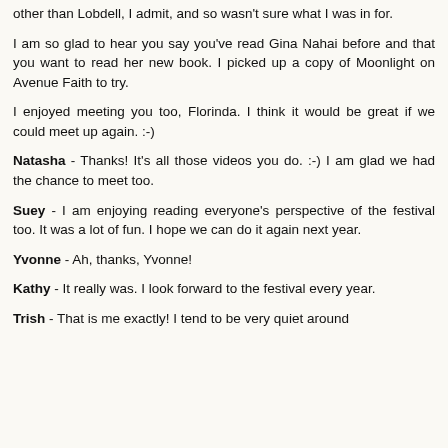other than Lobdell, I admit, and so wasn't sure what I was in for.
I am so glad to hear you say you've read Gina Nahai before and that you want to read her new book. I picked up a copy of Moonlight on Avenue Faith to try.
I enjoyed meeting you too, Florinda. I think it would be great if we could meet up again. :-)
Natasha - Thanks! It's all those videos you do. :-) I am glad we had the chance to meet too.
Suey - I am enjoying reading everyone's perspective of the festival too. It was a lot of fun. I hope we can do it again next year.
Yvonne - Ah, thanks, Yvonne!
Kathy - It really was. I look forward to the festival every year.
Trish - That is me exactly! I tend to be very quiet around...